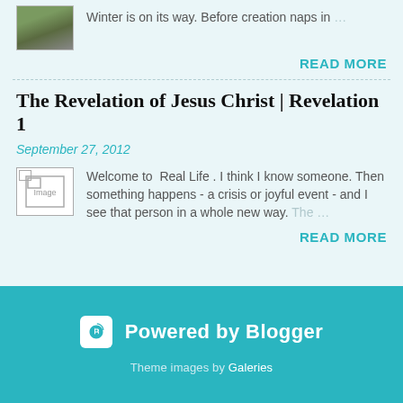Winter is on its way. Before creation naps in …
READ MORE
The Revelation of Jesus Christ | Revelation 1
September 27, 2012
[Figure (photo): Broken image placeholder labeled 'Image']
Welcome to  Real Life . I think I know someone. Then something happens - a crisis or joyful event - and I see that person in a whole new way. The …
READ MORE
Powered by Blogger
Theme images by Galeries